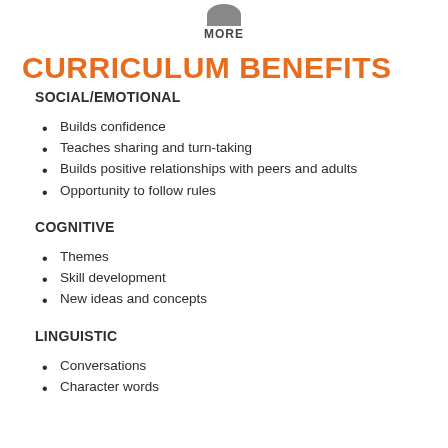[Figure (illustration): Partial circle/arc icon in gray at top center, with text MORE below it]
CURRICULUM BENEFITS
SOCIAL/EMOTIONAL
Builds confidence
Teaches sharing and turn-taking
Builds positive relationships with peers and adults
Opportunity to follow rules
COGNITIVE
Themes
Skill development
New ideas and concepts
LINGUISTIC
Conversations
Character words